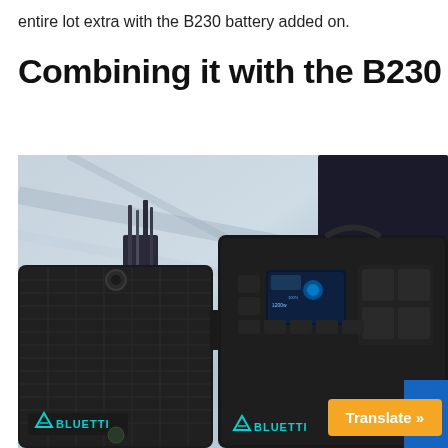entire lot extra with the B230 battery added on.
Combining it with the B230 Ba
[Figure (photo): Photo of two BLUETTI portable power stations placed on a kitchen counter. The left unit is a large rectangular black battery pack with the BLUETTI logo and teal triangle emblem. The right unit is a power station with a digital display screen, multiple outlet ports, and control buttons. In the background is a white marble wall and kitchen utensils in a holder.]
Translate »